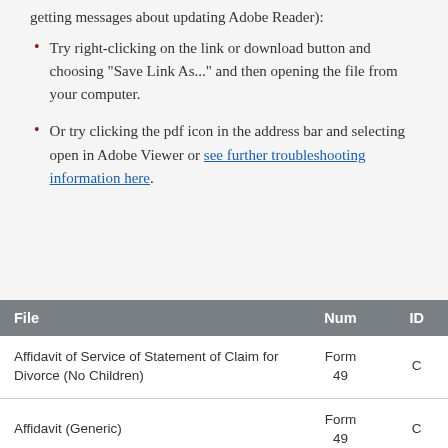getting messages about updating Adobe Reader):
Try right-clicking on the link or download button and choosing "Save Link As..." and then opening the file from your computer.
Or try clicking the pdf icon in the address bar and selecting open in Adobe Viewer or see further troubleshooting information here.
| File | Num | ID |
| --- | --- | --- |
| Affidavit of Service of Statement of Claim for Divorce (No Children) | Form 49 | C |
| Affidavit (Generic) | Form 49 | C |
| Originating Application - Protection Against Family Violence Act | Form 7 | C |